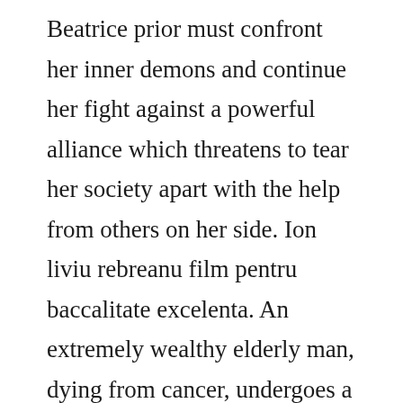Beatrice prior must confront her inner demons and continue her fight against a powerful alliance which threatens to tear her society apart with the help from others on her side. Ion liviu rebreanu film pentru baccalitate excelenta. An extremely wealthy elderly man, dying from cancer, undergoes a radical medical procedure that transfers his consciousness to the body of a healthy young man, but all is not as it seems when he starts to uncover the mystery of the bodys origin and the secret organization that will kill to protect its cause. Nonton movie online lebah